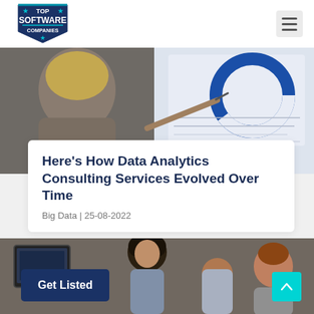TOP SOFTWARE COMPANIES
[Figure (photo): Woman with blonde hair pointing at a whiteboard/screen with charts, business presentation setting]
Here's How Data Analytics Consulting Services Evolved Over Time
Big Data | 25-08-2022
[Figure (photo): Three people gathered around a computer screen, woman with curly hair in center explaining something, diverse team]
Get Listed